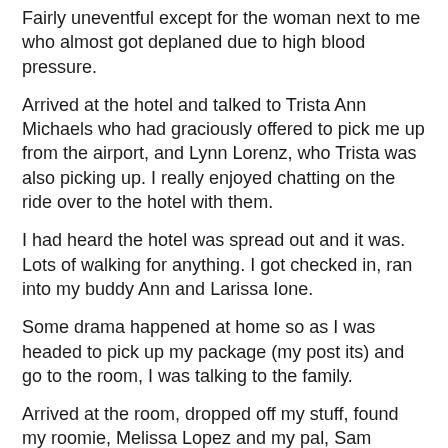Fairly uneventful except for the woman next to me who almost got deplaned due to high blood pressure.
Arrived at the hotel and talked to Trista Ann Michaels who had graciously offered to pick me up from the airport, and Lynn Lorenz, who Trista was also picking up. I really enjoyed chatting on the ride over to the hotel with them.
I had heard the hotel was spread out and it was. Lots of walking for anything. I got checked in, ran into my buddy Ann and Larissa Ione.
Some drama happened at home so as I was headed to pick up my package (my post its) and go to the room, I was talking to the family.
Arrived at the room, dropped off my stuff, found my roomie, Melissa Lopez and my pal, Sam Cheever and sat at the bar beside the pool for a bit.
Next, the rest of the day...